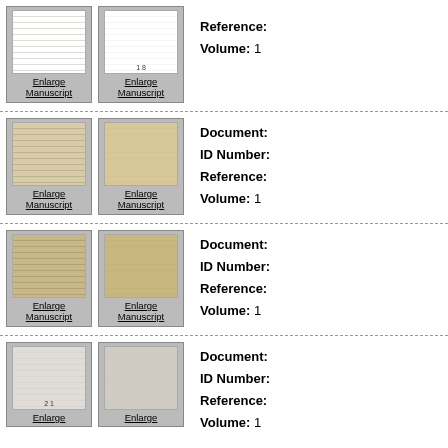[Figure (illustration): Row 1: Two manuscript thumbnail images with 'Enlarge Manuscript' links, plus metadata showing Reference: and Volume: 1]
Reference:
Volume: 1
[Figure (illustration): Row 2: Two manuscript thumbnail images with 'Enlarge Manuscript' links, plus metadata showing Document:, ID Number:, Reference:, Volume: 1]
Document:
ID Number:
Reference:
Volume: 1
[Figure (illustration): Row 3: Two manuscript thumbnail images with 'Enlarge Manuscript' links, plus metadata showing Document:, ID Number:, Reference:, Volume: 1]
Document:
ID Number:
Reference:
Volume: 1
[Figure (illustration): Row 4: Two manuscript thumbnail images with 'Enlarge Manuscript' links, plus metadata showing Document:, ID Number:, Reference:, Volume: 1]
Document:
ID Number:
Reference:
Volume: 1